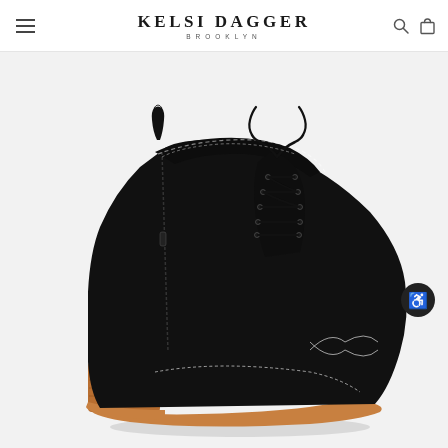KELSI DAGGER BROOKLYN
[Figure (photo): Black suede lace-up ankle boot with decorative stitching on toe, side zipper, pull tab at back, and stacked brown wooden heel with tan rubber outsole. Displayed on a light gray background. Kelsi Dagger Brooklyn product photo.]